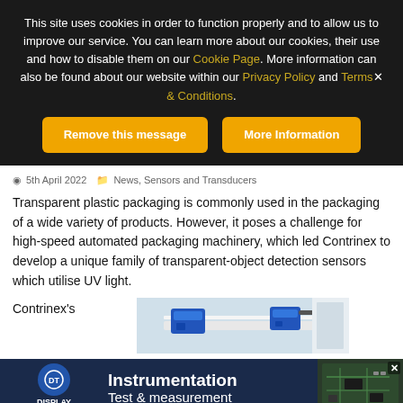This site uses cookies in order to function properly and to allow us to improve our service. You can learn more about our cookies, their use and how to disable them on our Cookie Page. More information can also be found about our website within our Privacy Policy and Terms & Conditions.
Remove this message
More Information
5th April 2022   News, Sensors and Transducers
Transparent plastic packaging is commonly used in the packaging of a wide variety of products. However, it poses a challenge for high-speed automated packaging machinery, which led Contrinex to develop a unique family of transparent-object detection sensors which utilise UV light.
Contrinex's
[Figure (photo): Blue sensors mounted on a white rail/track system, close-up industrial product photo]
[Figure (photo): Display Technology advertisement banner showing instrumentation and test & measurement products with circuit board image. Text: Instrumentation, Test & measurement, High bright TFTs, Power Supplies, Embedded SBC's]